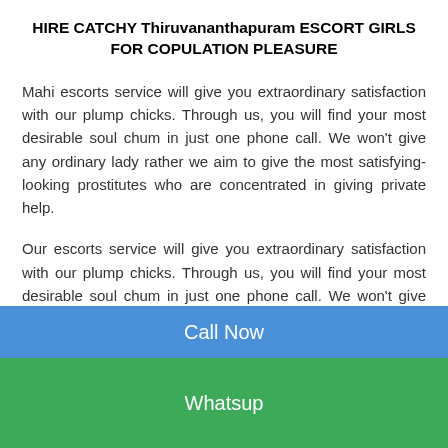HIRE CATCHY Thiruvananthapuram ESCORT GIRLS FOR COPULATION PLEASURE
Mahi escorts service will give you extraordinary satisfaction with our plump chicks. Through us, you will find your most desirable soul chum in just one phone call. We won't give any ordinary lady rather we aim to give the most satisfying-looking prostitutes who are concentrated in giving private help.
Our escorts service will give you extraordinary satisfaction with our plump chicks. Through us, you will find your most desirable soul chum in just one phone call. We won't give any ordinary lady rather we aim to give the most satisfying-looking prostitutes who are
Call Now
Whatsup